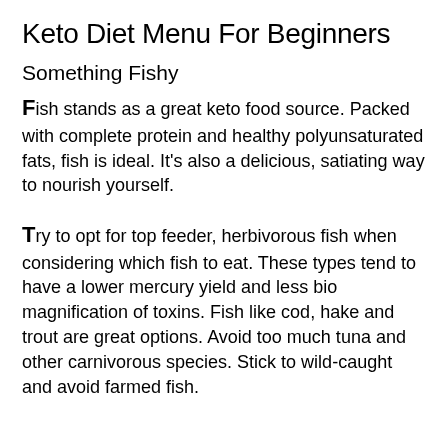Keto Diet Menu For Beginners
Something Fishy
Fish stands as a great keto food source. Packed with complete protein and healthy polyunsaturated fats, fish is ideal. It's also a delicious, satiating way to nourish yourself.
Try to opt for top feeder, herbivorous fish when considering which fish to eat. These types tend to have a lower mercury yield and less bio magnification of toxins. Fish like cod, hake and trout are great options. Avoid too much tuna and other carnivorous species. Stick to wild-caught and avoid farmed fish.